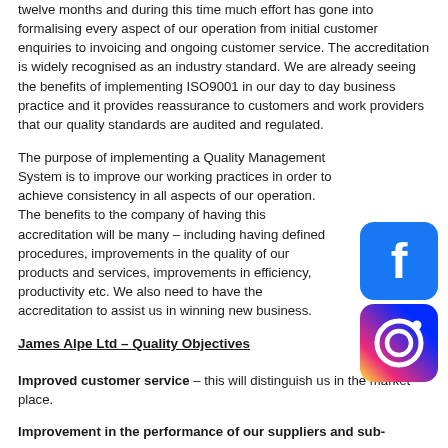twelve months and during this time much effort has gone into formalising every aspect of our operation from initial customer enquiries to invoicing and ongoing customer service. The accreditation is widely recognised as an industry standard. We are already seeing the benefits of implementing ISO9001 in our day to day business practice and it provides reassurance to customers and work providers that our quality standards are audited and regulated.
[Figure (logo): Facebook logo icon (blue rounded square with white 'f')]
[Figure (logo): Instagram logo icon (gradient rounded square with camera symbol)]
The purpose of implementing a Quality Management System is to improve our working practices in order to achieve consistency in all aspects of our operation. The benefits to the company of having this accreditation will be many – including having defined procedures, improvements in the quality of our products and services, improvements in efficiency, productivity etc. We also need to have the accreditation to assist us in winning new business.
James Alpe Ltd – Quality Objectives
Improved customer service – this will distinguish us in the market place.
Improvement in the performance of our suppliers and sub-